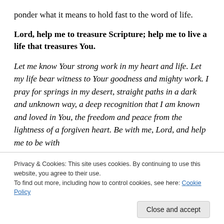ponder what it means to hold fast to the word of life.
Lord, help me to treasure Scripture; help me to live a life that treasures You.
Let me know Your strong work in my heart and life. Let my life bear witness to Your goodness and mighty work. I pray for springs in my desert, straight paths in a dark and unknown way, a deep recognition that I am known and loved in You, the freedom and peace from the lightness of a forgiven heart. Be with me, Lord, and help me to be with You.
Privacy & Cookies: This site uses cookies. By continuing to use this website, you agree to their use. To find out more, including how to control cookies, see here: Cookie Policy
Close and accept